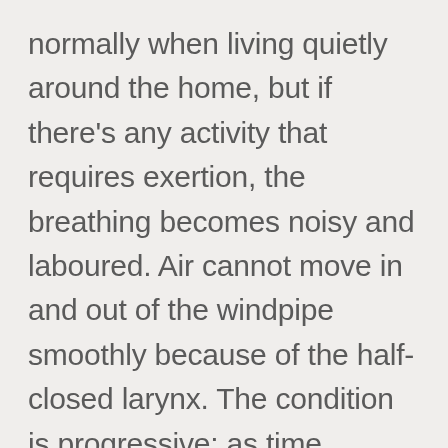normally when living quietly around the home, but if there's any activity that requires exertion, the breathing becomes noisy and laboured. Air cannot move in and out of the windpipe smoothly because of the half-closed larynx. The condition is progressive: as time passes, the breathing becomes laboured even following the mildest of activities.
I explained to John that the only cure for Pebbles was a major surgical operation to artificially fix her larynx in a wide-open position. This was the only way that the